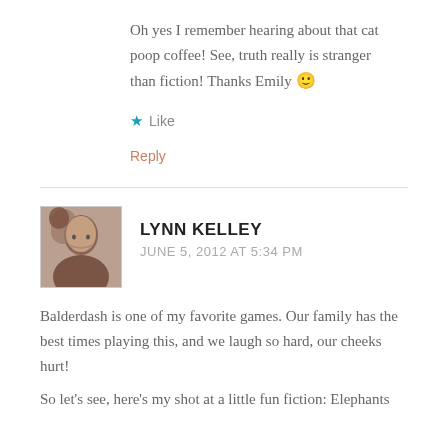Oh yes I remember hearing about that cat poop coffee! See, truth really is stranger than fiction! Thanks Emily 🙂
★ Like
Reply
LYNN KELLEY
JUNE 5, 2012 AT 5:34 PM
Balderdash is one of my favorite games. Our family has the best times playing this, and we laugh so hard, our cheeks hurt!
So let's see, here's my shot at a little fun fiction: Elephants